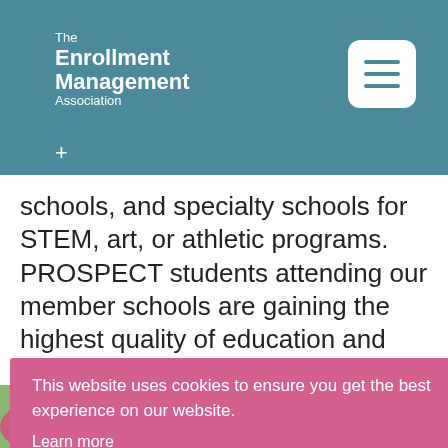The Enrollment Management Association
schools, and specialty schools for STEM, art, or athletic programs. PROSPECT students attending our member schools are gaining the highest quality of education and the best college preparation possible.
Below is a representative sampling of our member schools.
This website uses cookies to ensure you get the best experience on our website. Learn more
Got it!
[Figure (photo): Photo of students outdoors with green foliage background]